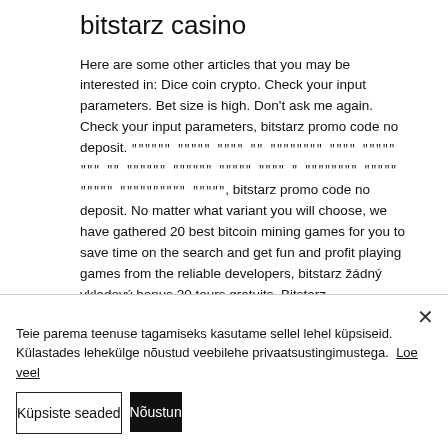bitstarz casino
Here are some other articles that you may be interested in: Dice coin crypto. Check your input parameters. Bet size is high. Don't ask me again. Check your input parameters, bitstarz promo code no deposit. """""" """"" """" "" """""""" 」"" """"" """ "" """""" """""" """"" """" " """""""" """"" """" """"""""""" """"", bitstarz promo code no deposit. No matter what variant you will choose, we have gathered 20 best bitcoin mining games for you to save time on the search and get fun and profit playing games from the reliable developers, bitstarz žádný vkladový bonus 20 tours gratuits. Bitstarz
Teie parema teenuse tagamiseks kasutame sellel lehel küpsiseid. Külastades lehekülge nõustud veebilehe privaatsustingimustega. Loe veel
Küpsiste seaded
Nõustun